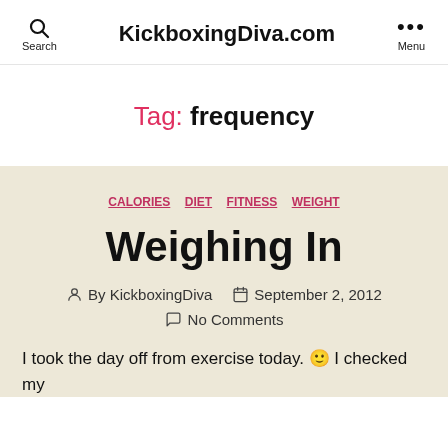KickboxingDiva.com
Tag: frequency
CALORIES  DIET  FITNESS  WEIGHT
Weighing In
By KickboxingDiva   September 2, 2012
No Comments
I took the day off from exercise today. 🙂  I checked my